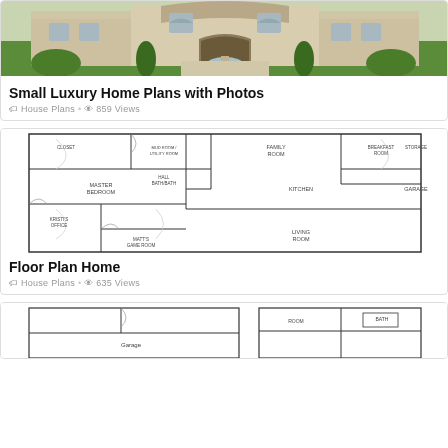[Figure (photo): Photo of a luxury home exterior with stone facade, arched windows and door, fountain in driveway, green landscaping]
Small Luxury Home Plans with Photos
🏷 House Plans • 👁 859 Views
[Figure (engineering-diagram): Floor plan of a home showing Master Bedroom, Family Room, Kitchen, Breakfast Room, Storage, Garage, Living Room, Mud/Utility Room, Closet, Hall/Bathroom, Foyer/Entry, Kristi's Office, Matt's Game Room]
Floor Plan Home
🏷 House Plans • 👁 635 Views
[Figure (engineering-diagram): Partial view of another floor plan showing Garage and additional rooms, partially cropped]